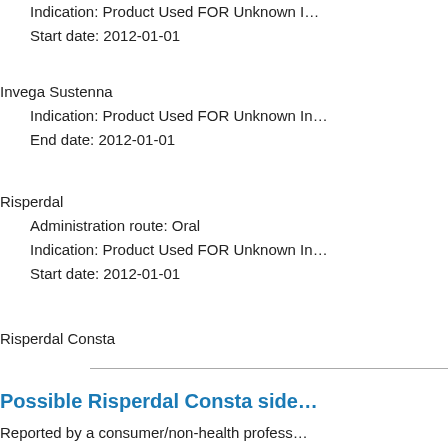Indication: Product Used FOR Unknown Indication
Start date: 2012-01-01
Invega Sustenna
Indication: Product Used FOR Unknown Indication
End date: 2012-01-01
Risperdal
Administration route: Oral
Indication: Product Used FOR Unknown Indication
Start date: 2012-01-01
Risperdal Consta
Possible Risperdal Consta side
Reported by a consumer/non-health profess
Patient: male
Reactions: Weight Decreased, Drug Dose Omitted, Diabetes Mellitus, Schizoaffective Disorder, Toxicity To Various Agents, Haematochezia, Weight Increased, Motion S
Drug(s) suspected as cause: